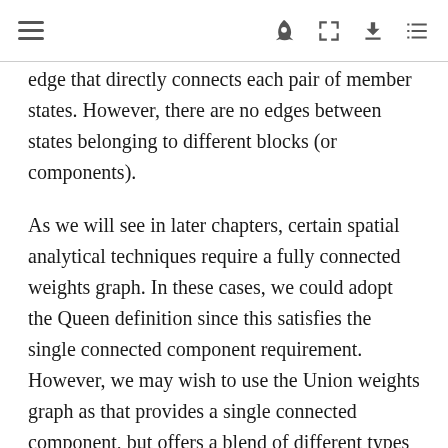[navigation icons]
edge that directly connects each pair of member states. However, there are no edges between states belonging to different blocks (or components).
As we will see in later chapters, certain spatial analytical techniques require a fully connected weights graph. In these cases, we could adopt the Queen definition since this satisfies the single connected component requirement. However, we may wish to use the Union weights graph as that provides a single connected component, but offers a blend of different types of connectivity intensities, with the interchange (block) links and a ...